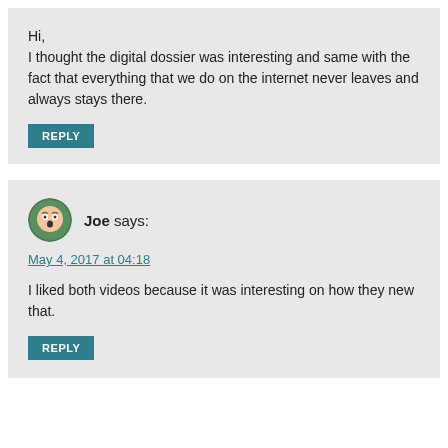Hi,
I thought the digital dossier was interesting and same with the fact that everything that we do on the internet never leaves and always stays there.
REPLY
Joe says:
May 4, 2017 at 04:18
I liked both videos because it was interesting on how they new that.
REPLY